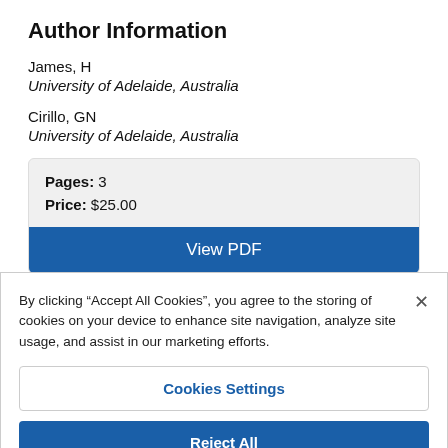Author Information
James, H
University of Adelaide, Australia
Cirillo, GN
University of Adelaide, Australia
| Pages: 3 |
| Price: $25.00 |
View PDF
By clicking “Accept All Cookies”, you agree to the storing of cookies on your device to enhance site navigation, analyze site usage, and assist in our marketing efforts.
Cookies Settings
Reject All